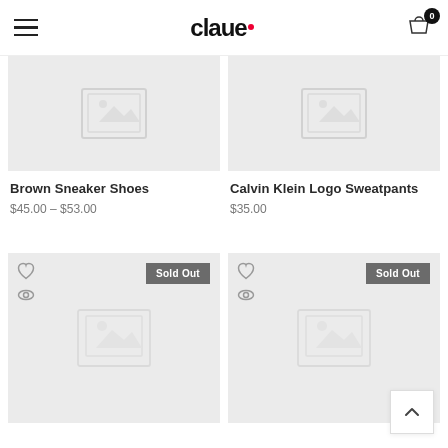claue
[Figure (photo): Product image placeholder for Brown Sneaker Shoes - top portion visible, gray placeholder with image icon]
Brown Sneaker Shoes
$45.00 – $53.00
[Figure (photo): Product image placeholder for Calvin Klein Logo Sweatpants - top portion visible, gray placeholder with image icon]
Calvin Klein Logo Sweatpants
$35.00
[Figure (photo): Product image placeholder - Sold Out badge, gray with image icon, heart and eye icons]
[Figure (photo): Product image placeholder - Sold Out badge, gray with image icon, heart and eye icons]